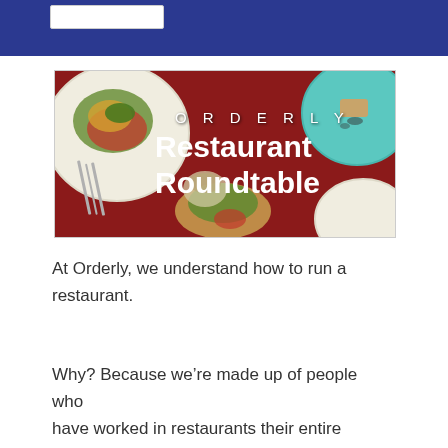[Figure (illustration): Orderly Restaurant Roundtable banner image: overhead view of restaurant dishes on a dark red tablecloth with text overlay reading 'ORDERLY Restaurant Roundtable']
At Orderly, we understand how to run a restaurant.
Why? Because we’re made up of people who have worked in restaurants their entire lives